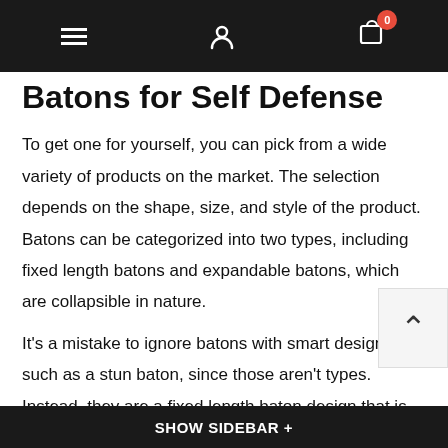Navigation bar with hamburger menu, user icon, and cart icon with badge showing 0
Batons for Self Defense
To get one for yourself, you can pick from a wide variety of products on the market. The selection depends on the shape, size, and style of the product. Batons can be categorized into two types, including fixed length batons and expandable batons, which are collapsible in nature.
It's a mistake to ignore batons with smart designs, such as a stun baton, since those aren't types. Instead, they are a fixed length baton design that is
SHOW SIDEBAR +